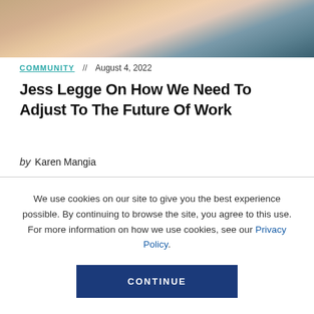[Figure (photo): Partial portrait photo of a person (Jess Legge) showing blurred head and shoulders against a brick wall background, cropped at top of page.]
COMMUNITY // August 4, 2022
Jess Legge On How We Need To Adjust To The Future Of Work
by Karen Mangia
We use cookies on our site to give you the best experience possible. By continuing to browse the site, you agree to this use. For more information on how we use cookies, see our Privacy Policy.
CONTINUE